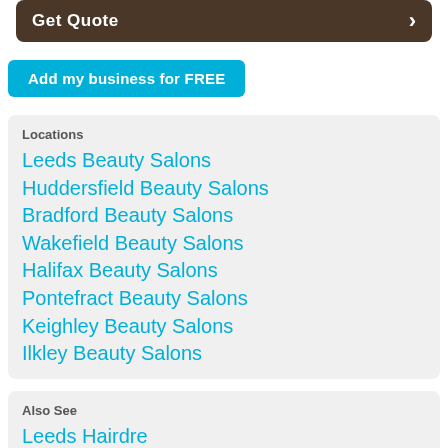[Figure (other): Dark brown rounded banner with 'Get Quote' text in white bold and a right arrow chevron on the right side]
Add my business for FREE
Locations
Leeds Beauty Salons
Huddersfield Beauty Salons
Bradford Beauty Salons
Wakefield Beauty Salons
Halifax Beauty Salons
Pontefract Beauty Salons
Keighley Beauty Salons
Ilkley Beauty Salons
Also See
Leeds Hairdressers (partially visible)